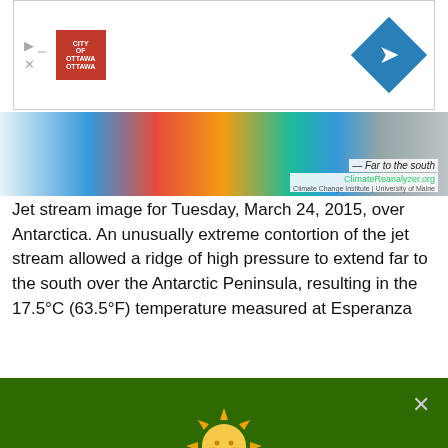[Figure (screenshot): Advertisement banner with red box logo on left and blue diamond with arrow on right]
[Figure (photo): Jet stream image strip showing colorful atmospheric data over Antarctica with ClimateReanalyzer.org caption]
Jet stream image for Tuesday, March 24, 2015, over Antarctica. An unusually extreme contortion of the jet stream allowed a ridge of high pressure to extend far to the south over the Antarctic Peninsula, resulting in the 17.5°C (63.5°F) temperature measured at Esperanza
[Figure (infographic): Green privacy consent overlay with sun icon, title 'Your Privacy', body text about Privacy Policy, and link to Review Privacy and Advertising Settings]